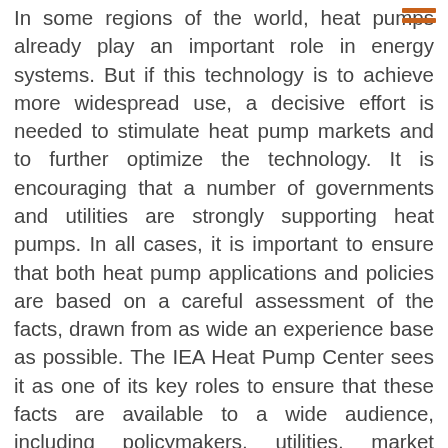In some regions of the world, heat pumps already play an important role in energy systems. But if this technology is to achieve more widespread use, a decisive effort is needed to stimulate heat pump markets and to further optimize the technology. It is encouraging that a number of governments and utilities are strongly supporting heat pumps. In all cases, it is important to ensure that both heat pump applications and policies are based on a careful assessment of the facts, drawn from as wide an experience base as possible. The IEA Heat Pump Center sees it as one of its key roles to ensure that these facts are available to a wide audience, including policymakers, utilities, market parties, and heat pump users.